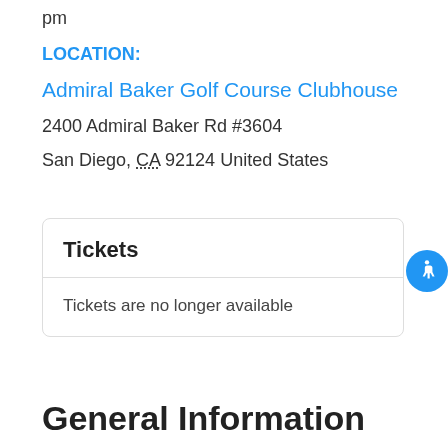pm
LOCATION:
Admiral Baker Golf Course Clubhouse
2400 Admiral Baker Rd #3604
San Diego, CA 92124 United States
Tickets
Tickets are no longer available
General Information